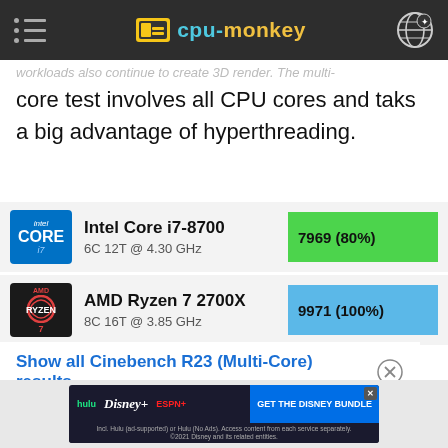cpu-monkey
core test involves all CPU cores and taks a big advantage of hyperthreading.
| CPU | Specs | Score |
| --- | --- | --- |
| Intel Core i7-8700 | 6C 12T @ 4.30 GHz | 7969 (80%) |
| AMD Ryzen 7 2700X | 8C 16T @ 3.85 GHz | 9971 (100%) |
Show all Cinebench R23 (Multi-Core) results
[Figure (screenshot): Disney Bundle advertisement with Hulu, Disney+, ESPN+ logos and 'GET THE DISNEY BUNDLE' call to action]